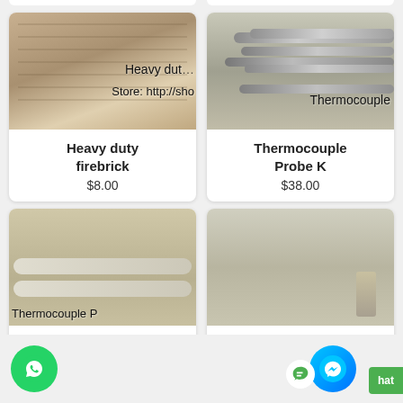[Figure (photo): Photo of heavy duty firebrick stacked, with overlaid text 'Heavy duty' and 'Store: http://sho']
Heavy duty firebrick
$8.00
[Figure (photo): Photo of thermocouple probe K sensors, with overlaid text 'Thermocouple']
Thermocouple Probe K
$38.00
[Figure (photo): Photo of thermocouple probe P, partially visible at bottom, with overlaid text 'Thermocouple P']
[Figure (photo): Photo of product, partially visible at bottom right]